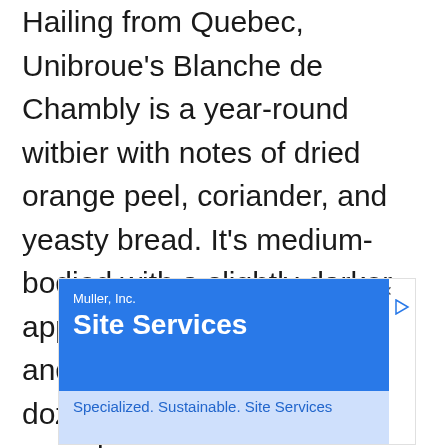Hailing from Quebec, Unibroue's Blanche de Chambly is a year-round witbier with notes of dried orange peel, coriander, and yeasty bread. It's medium-bodied with a slightly darker appearance than Blue Moon and 5% ABV. It has won dozens of international awards.
[Figure (other): Advertisement banner for Muller, Inc. showing 'Site Services' with tagline 'Specialized. Sustainable. Site Services' on a blue and light blue background with close and play buttons.]